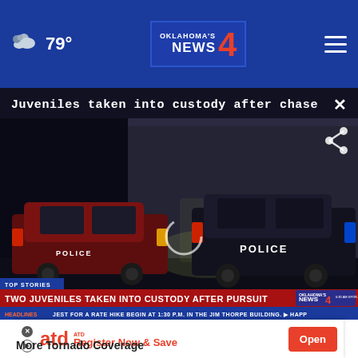79° | Oklahoma's News 4
Juveniles taken into custody after chase
[Figure (screenshot): Nighttime video still showing two police SUVs parked outside a building, with lower-third graphic reading 'TWO JUVENILES TAKEN INTO CUSTODY AFTER PURSUIT' on a red bar, and a blue ticker bar reading 'HEADLINES — JEST FOR A RATE HIKE BEGIN AT 1:30 P.M. IN THE JIM THORPE BUILDING. HAPP']
Local  4 months ago  Local  4 months ago  Local
ATD  Register Now & Save  Open
More Tornado Coverage